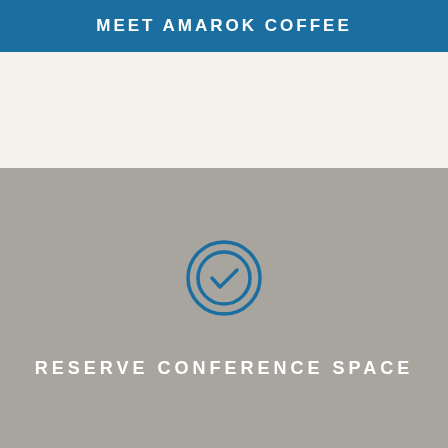MEET AMAROK COFFEE
[Figure (illustration): A blue circular clock/check icon with two concentric circles and a checkmark inside, displayed on a gray background]
RESERVE CONFERENCE SPACE